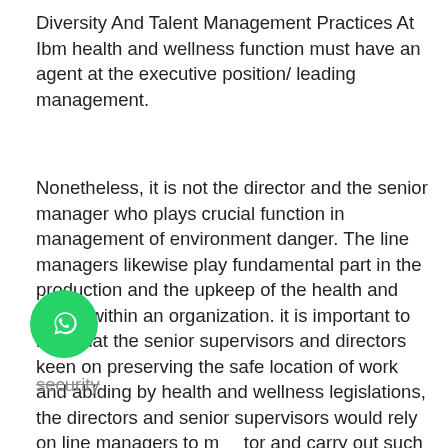Diversity And Talent Management Practices At Ibm health and wellness function must have an agent at the executive position/ leading management.
Nonetheless, it is not the director and the senior manager who plays crucial function in management of environment danger. The line managers likewise play fundamental part in the production and the upkeep of the health and safety within an organization. it is important to note that the senior supervisors and directors keen on preserving the safe location of work and abiding by health and wellness legislations, the directors and senior supervisors would rely on line managers to monitor and carry out such provision, not only this however likewise function as a conduit for the security enhancement tips and feedback from the staff members